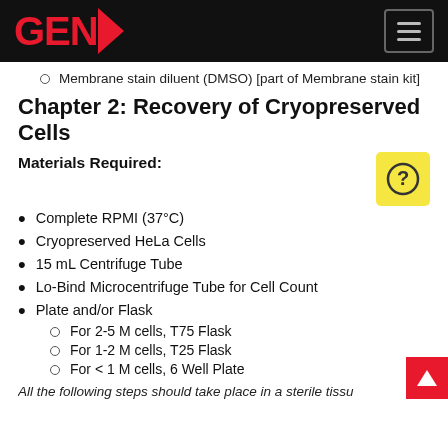GENP
Membrane stain diluent (DMSO) [part of Membrane stain kit]
Chapter 2: Recovery of Cryopreserved Cells
Materials Required:
Complete RPMI (37°C)
Cryopreserved HeLa Cells
15 mL Centrifuge Tube
Lo-Bind Microcentrifuge Tube for Cell Count
Plate and/or Flask
For 2-5 M cells, T75 Flask
For 1-2 M cells, T25 Flask
For < 1 M cells, 6 Well Plate
All the following steps should take place in a sterile tissu